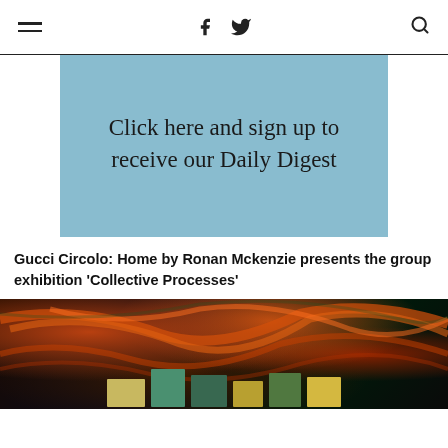☰ f 🐦 🔍
[Figure (other): Light blue banner advertisement with text: Click here and sign up to receive our Daily Digest]
Gucci Circolo: Home by Ronan Mckenzie presents the group exhibition 'Collective Processes'
[Figure (photo): Dark photograph with colorful orange, red, and green swirling streaks against a black background. Bottom of image shows display items/books/frames in teal, green, yellow colors.]